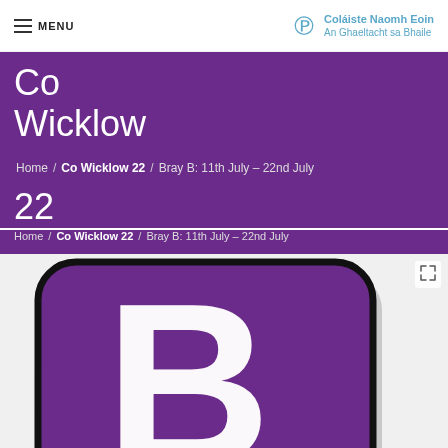MENU | Coláiste Naomh Eoin An Ghaeltacht sa Bhaile
Co Wicklow 22
Home / Co Wicklow 22 / Bray B: 11th July – 22nd July
[Figure (illustration): Large stylized letter B in white on a purple rounded square tile with black outline and grey shadow, partially cropped at bottom]